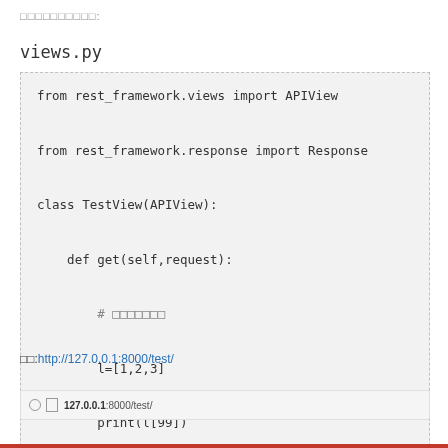□□□□□□□□□□:
views.py
from rest_framework.views import APIView

from rest_framework.response import Response

class TestView(APIView):

    def get(self,request):

        # □□□□□□□

        l=[1,2,3]

        print(l[99])



        return Response('ok')
□□:http://127.0.0.1:8000/test/
[Figure (screenshot): Browser address bar showing 127.0.0.1:8000/test/]